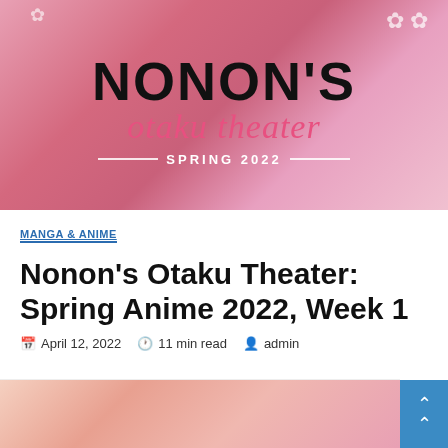[Figure (illustration): Banner image for Nonon's Otaku Theater Spring 2022 featuring anime characters with pink color scheme. Text reads 'Nonons otaku theater SPRING 2022' overlaid on the image.]
MANGA & ANIME
Nonon's Otaku Theater: Spring Anime 2022, Week 1
April 12, 2022  11 min read  admin
[Figure (illustration): Bottom portion of anime illustration with pink/peach color tones, partially visible at the bottom of the page. A teal/blue scroll-to-top button is visible in the bottom right corner.]